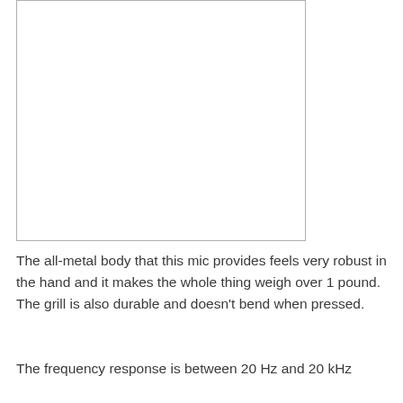[Figure (photo): A white/blank rectangular image placeholder with a light gray border]
The all-metal body that this mic provides feels very robust in the hand and it makes the whole thing weigh over 1 pound. The grill is also durable and doesn't bend when pressed.
The frequency response is between 20 Hz and 20 kHz